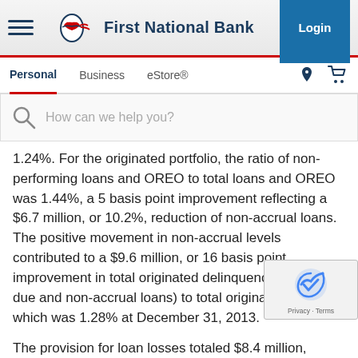[Figure (logo): First National Bank website header with hamburger menu, eagle shield logo, bank name, and Login button]
Personal  Business  eStore®
How can we help you?
1.24%. For the originated portfolio, the ratio of non-performing loans and OREO to total loans and OREO was 1.44%, a 5 basis point improvement reflecting a $6.7 million, or 10.2%, reduction of non-accrual loans. The positive movement in non-accrual levels contributed to a $9.6 million, or 16 basis point, improvement in total originated delinquency (total past due and non-accrual loans) to total originated loans, which was 1.28% at December 31, 2013.
The provision for loan losses totaled $8.4 million, compared to $7.3 million in the prior quarter.